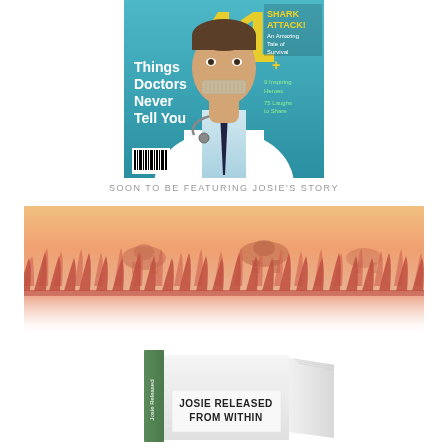[Figure (illustration): Magazine cover showing a doctor with tape over his mouth, title reads '41 Things Doctors Never Tell You', with text 'SHARK ATTACK! An Amazing Tale of Survival', '9 Inspiring Heroes', '75 Laughs to Share', barcode at bottom left]
SOON TO BE FEATURING JOSIE'S STORY
[Figure (illustration): Stylized illustration of tall grass/wheat in warm orange and pink tones with a gradient sky, silhouettes of animals in the background]
[Figure (illustration): Book cover showing 'JOSIE RELEASED FROM WITHIN' text on a white book with a green spine]